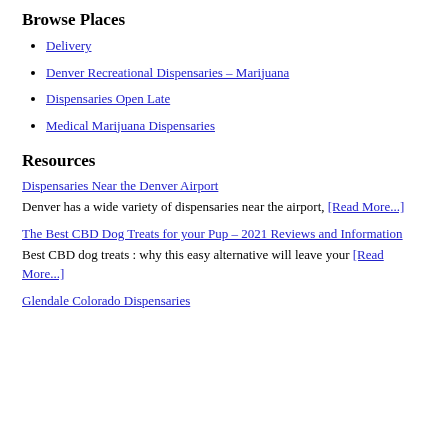Browse Places
Delivery
Denver Recreational Dispensaries – Marijuana
Dispensaries Open Late
Medical Marijuana Dispensaries
Resources
Dispensaries Near the Denver Airport
Denver has a wide variety of dispensaries near the airport, [Read More...]
The Best CBD Dog Treats for your Pup – 2021 Reviews and Information
Best CBD dog treats : why this easy alternative will leave your [Read More...]
Glendale Colorado Dispensaries